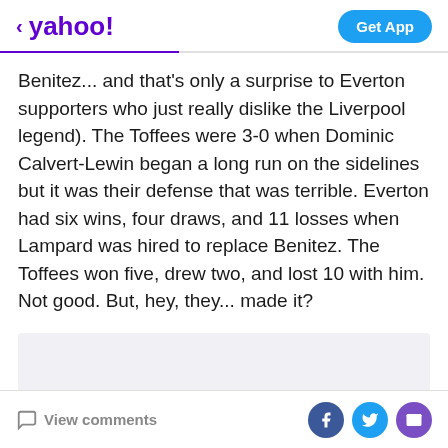< yahoo!  Get App
Benitez... and that's only a surprise to Everton supporters who just really dislike the Liverpool legend). The Toffees were 3-0 when Dominic Calvert-Lewin began a long run on the sidelines but it was their defense that was terrible. Everton had six wins, four draws, and 11 losses when Lampard was hired to replace Benitez. The Toffees won five, drew two, and lost 10 with him. Not good. But, hey, they... made it?
[Figure (other): Advertisement placeholder - light grey rectangle]
View comments  [Facebook icon] [Twitter icon] [Mail icon]